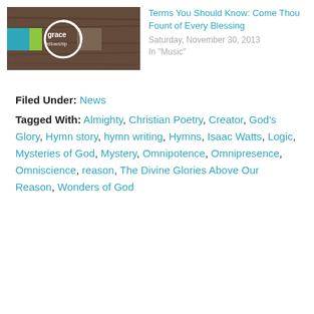[Figure (photo): Thumbnail image of a Grace Fellowship church logo on a wooden background with teal, green, and brown color accents]
Terms You Should Know: Come Thou Fount of Every Blessing
Saturday, November 30, 2013
In "Music"
Filed Under: News
Tagged With: Almighty, Christian Poetry, Creator, God's Glory, Hymn story, hymn writing, Hymns, Isaac Watts, Logic, Mysteries of God, Mystery, Omnipotence, Omnipresence, Omniscience, reason, The Divine Glories Above Our Reason, Wonders of God